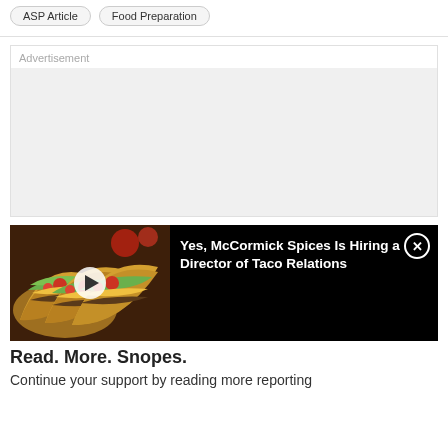ASP Article
Food Preparation
Advertisement
[Figure (screenshot): Video thumbnail showing tacos with a play button overlay, beside text 'Yes, McCormick Spices Is Hiring a Director of Taco Relations' on black background with close button]
Read. More. Snopes.
Continue your support by reading more reporting